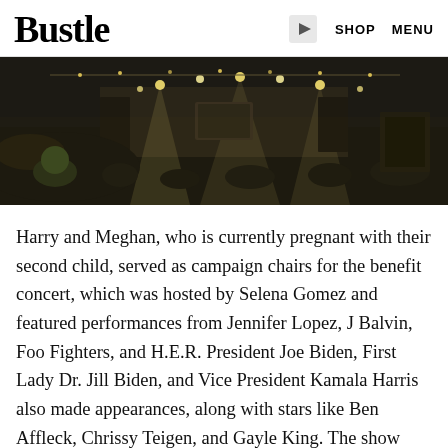Bustle  SHOP  MENU
[Figure (photo): Concert venue photo showing a dimly lit stage with lights and a large crowd of people in the foreground, viewed from behind the audience]
Harry and Meghan, who is currently pregnant with their second child, served as campaign chairs for the benefit concert, which was hosted by Selena Gomez and featured performances from Jennifer Lopez, J Balvin, Foo Fighters, and H.E.R. President Joe Biden, First Lady Dr. Jill Biden, and Vice President Kamala Harris also made appearances, along with stars like Ben Affleck, Chrissy Teigen, and Gayle King. The show will be broadcast on May 8.